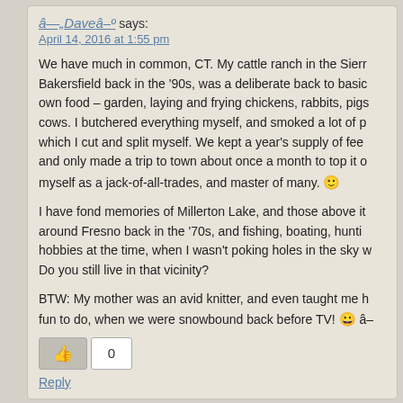â—„Daveâ–º says:
April 14, 2016 at 1:55 pm
We have much in common, CT. My cattle ranch in the Sierr... Bakersfield back in the '90s, was a deliberate back to basic... own food – garden, laying and frying chickens, rabbits, pigs... cows. I butchered everything myself, and smoked a lot of p... which I cut and split myself. We kept a year's supply of fee... and only made a trip to town about once a month to top it o... myself as a jack-of-all-trades, and master of many. 🙂
I have fond memories of Millerton Lake, and those above it... around Fresno back in the '70s, and fishing, boating, hunti... hobbies at the time, when I wasn't poking holes in the sky w... Do you still live in that vicinity?
BTW: My mother was an avid knitter, and even taught me h... fun to do, when we were snowbound back before TV! 😀 â–
0
Reply
ClinicalThinker says:
April 17, 2016 at 3:39 am
It was to be sure re...